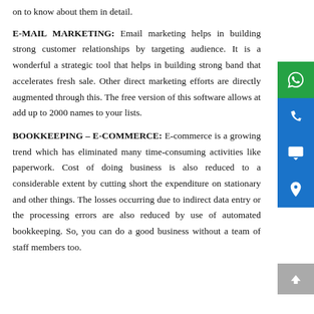on to know about them in detail.
E-MAIL MARKETING: Email marketing helps in building strong customer relationships by targeting audience. It is a wonderful a strategic tool that helps in building strong band that accelerates fresh sale. Other direct marketing efforts are directly augmented through this. The free version of this software allows at add up to 2000 names to your lists.
BOOKKEEPING – E-COMMERCE: E-commerce is a growing trend which has eliminated many time-consuming activities like paperwork. Cost of doing business is also reduced to a considerable extent by cutting short the expenditure on stationary and other things. The losses occurring due to indirect data entry or the processing errors are also reduced by use of automated bookkeeping. So, you can do a good business without a team of staff members too.